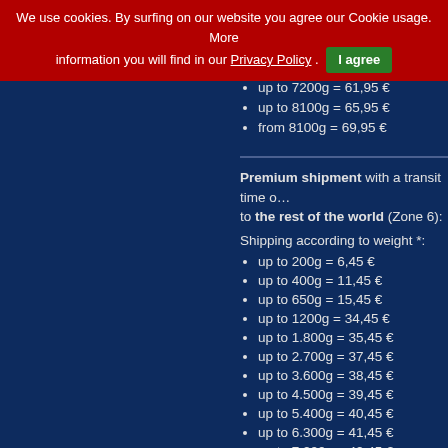We use cookies. By surfing on our website you agree our Cookie usage. More information you will find in our Privacy Policy . I agree
up to 6300g = 57,95 €
up to 7200g = 61,95 €
up to 8100g = 65,95 €
from 8100g = 69,95 €
Premium shipment with a transit time of … to the rest of the world (Zone 6):
Shipping according to weight *:
up to 200g = 6,45 €
up to 400g = 11,45 €
up to 650g = 15,45 €
up to 1200g = 34,45 €
up to 1.800g = 35,45 €
up to 2.700g = 37,45 €
up to 3.600g = 38,45 €
up to 4.500g = 39,45 €
up to 5.400g = 40,45 €
up to 6.300g = 41,45 €
up to 7.200g = 42,45 €
up to 8.100g = 43,45 €
from 8.100g = 44,45 €